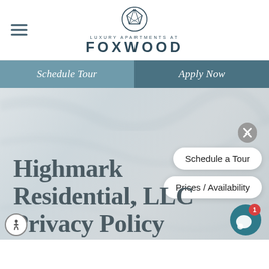[Figure (logo): Foxwood Luxury Apartments logo with geometric fox head icon and text 'LUXURY APARTMENTS AT FOXWOOD']
Schedule Tour | Apply Now
[Figure (screenshot): Website hero section with marble-textured background, close button (X), chat buttons 'Schedule a Tour' and 'Prices / Availability']
Highmark Residential, LLC Privacy Policy